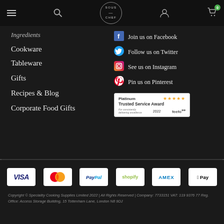Sous Chef navigation bar with hamburger menu, search, logo, account, and cart icons
Ingredients
Cookware
Tableware
Gifts
Recipes & Blog
Corporate Food Gifts
Join us on Facebook
Follow us on Twitter
See us on Instagram
Pin us on Pinterest
[Figure (logo): Feefo Platinum Trusted Service Award 2022 badge with 5 stars]
[Figure (other): Payment method icons: VISA, MasterCard, PayPal, Shopify, AMEX, Apple Pay]
Copyright © Speciality Cooking Supplies Limited 2022 | All Rights Reserved | Company: 7733151 VAT: 119 9376 77 Reg. Office: Access Storage Building, 15 Tottenham Lane, London N8 9DJ